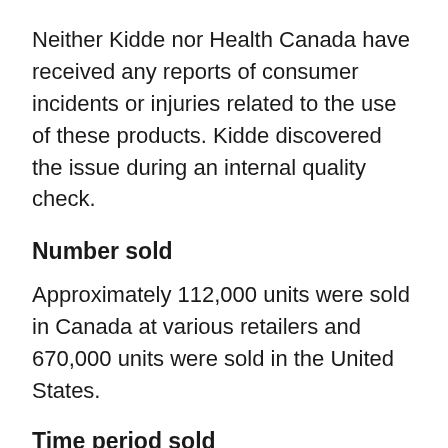Neither Kidde nor Health Canada have received any reports of consumer incidents or injuries related to the use of these products. Kidde discovered the issue during an internal quality check.
Number sold
Approximately 112,000 units were sold in Canada at various retailers and 670,000 units were sold in the United States.
Time period sold
Model KN-COSM-IBACA was sold between January 2, 2014 and May 13, 2014. Models